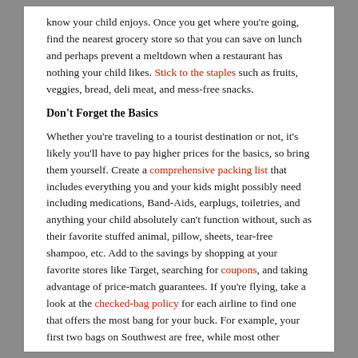know your child enjoys. Once you get where you're going, find the nearest grocery store so that you can save on lunch and perhaps prevent a meltdown when a restaurant has nothing your child likes. Stick to the staples such as fruits, veggies, bread, deli meat, and mess-free snacks.
Don't Forget the Basics
Whether you're traveling to a tourist destination or not, it's likely you'll have to pay higher prices for the basics, so bring them yourself. Create a comprehensive packing list that includes everything you and your kids might possibly need including medications, Band-Aids, earplugs, toiletries, and anything your child absolutely can't function without, such as their favorite stuffed animal, pillow, sheets, tear-free shampoo, etc. Add to the savings by shopping at your favorite stores like Target, searching for coupons, and taking advantage of price-match guarantees. If you're flying, take a look at the checked-bag policy for each airline to find one that offers the most bang for your buck. For example, your first two bags on Southwest are free, while most other